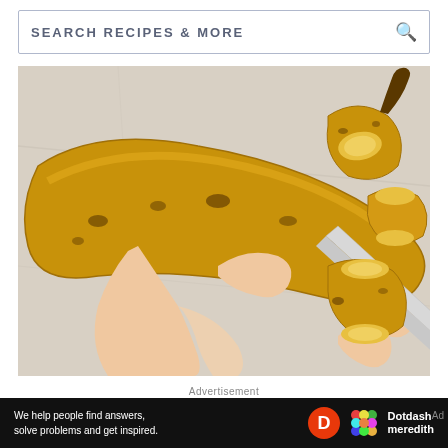SEARCH RECIPES & MORE
[Figure (photo): Overhead shot of hands holding a plantain and a knife on a light marble surface, with plantain pieces cut around it. The plantains are yellow with brown spots.]
Advertisement
[Figure (infographic): Black advertisement banner with dark red polka dot pattern. Large white bold text reads 'We help people find answers'. Bottom bar shows small text: 'We help people find answers, solve problems and get inspired.' with Dotdash Meredith logo.]